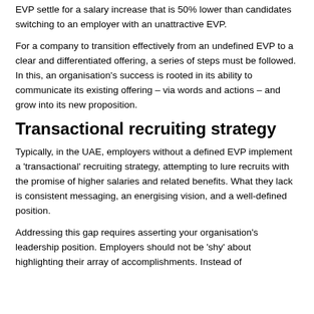EVP settle for a salary increase that is 50% lower than candidates switching to an employer with an unattractive EVP.
For a company to transition effectively from an undefined EVP to a clear and differentiated offering, a series of steps must be followed. In this, an organisation's success is rooted in its ability to communicate its existing offering – via words and actions – and grow into its new proposition.
Transactional recruiting strategy
Typically, in the UAE, employers without a defined EVP implement a 'transactional' recruiting strategy, attempting to lure recruits with the promise of higher salaries and related benefits. What they lack is consistent messaging, an energising vision, and a well-defined position.
Addressing this gap requires asserting your organisation's leadership position. Employers should not be 'shy' about highlighting their array of accomplishments. Instead of